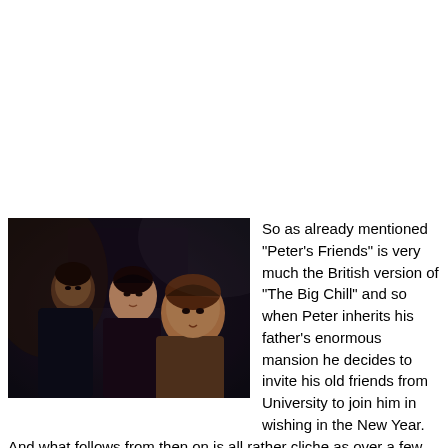[Figure (photo): A dark photograph showing three people (two women and a man) sitting together, appearing to look at something with surprised or concerned expressions. The setting appears to be a dimly lit indoor location.]
So as already mentioned "Peter's Friends" is very much the British version of "The Big Chill" and so when Peter inherits his father's enormous mansion he decides to invite his old friends from University to join him in wishing in the New Year. And what follows from then on is all rather cliche as over a few days the old friends and some new ones have fun, discover things about each other they never realised and share more than a few problems which include a couple of